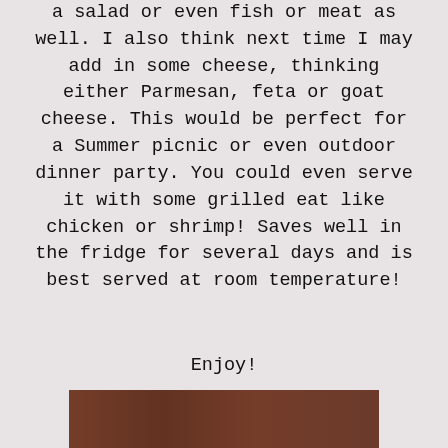a salad or even fish or meat as well.  I also think next time I may add in some cheese,  thinking either Parmesan, feta or goat cheese.   This would be perfect for a Summer picnic or even outdoor dinner party.  You could even serve it with some grilled eat like chicken or shrimp!  Saves well in the fridge for several days and is best served at room temperature!
Enjoy!
[Figure (photo): A white decorative bowl filled with green pasta salad including bowtie pasta, dark leafy greens (spinach), and herbs, placed on a wooden surface.]